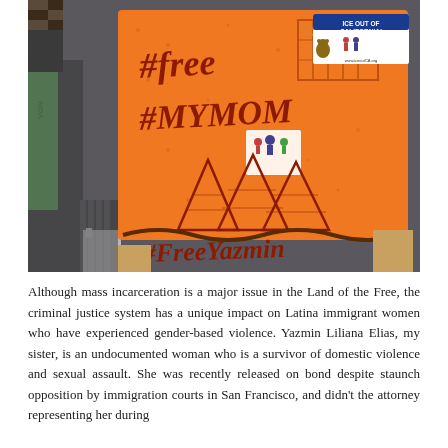[Figure (photo): A protest photo showing a person holding a large orange sign with handwritten text reading '#Free #MYMOM #FreeYazmin'. A sticker on the sign reads 'ICE OUT OF CALIFORNIA!' with an image of a bear. Other protesters are visible in the background.]
Although mass incarceration is a major issue in the Land of the Free, the criminal justice system has a unique impact on Latina immigrant women who have experienced gender-based violence. Yazmin Liliana Elias, my sister, is an undocumented woman who is a survivor of domestic violence and sexual assault. She was recently released on bond despite staunch opposition by immigration courts in San Francisco, and didn't the attorney representing her during...